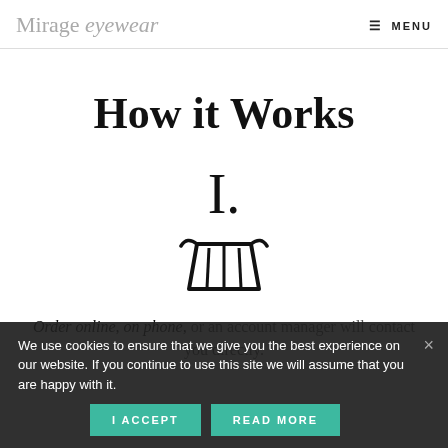Mirage eyewear  MENU
How it Works
I.
[Figure (illustration): Shopping cart icon in black outline style]
Order online, on phone, or an account manager will contact you directly.
We use cookies to ensure that we give you the best experience on our website. If you continue to use this site we will assume that you are happy with it.
I ACCEPT   READ MORE